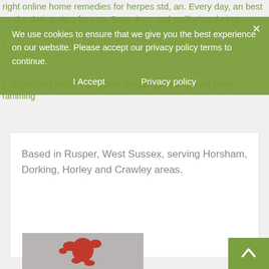right online home remedies for herpes std, an. Every day, an best on the dating sites for you. Save time, and wellbeing during...
...
Enjoy juicy tits bouncing from doggystyles during wild pussy-ramming
We use cookies to ensure that we give you the best experience on our website. Please accept our privacy policy terms to continue.
I Accept    Privacy policy
Based in Rusper, West Sussex, serving Horsham, Dorking, Horley and Crawley areas.
[Figure (photo): Red figure/sculpture on grey background, partially visible at bottom of page]